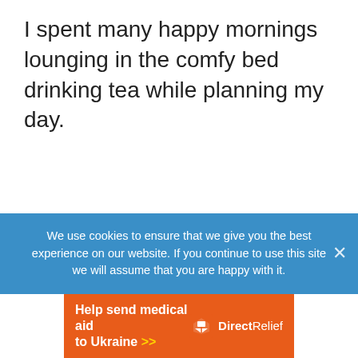I spent many happy mornings lounging in the comfy bed drinking tea while planning my day.
We use cookies to ensure that we give you the best experience on our website. If you continue to use this site we will assume that you are happy with it.
[Figure (other): Orange advertisement banner reading 'Help send medical aid to Ukraine >>' with Direct Relief logo]